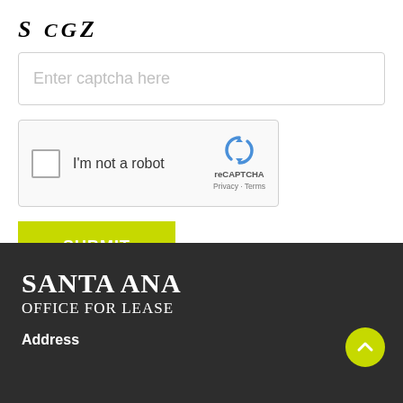[Figure (logo): SCGZ text logo in italic serif font]
Enter captcha here
[Figure (screenshot): reCAPTCHA widget with checkbox 'I'm not a robot', reCAPTCHA logo, Privacy and Terms links]
SUBMIT
SANTA ANA
OFFICE FOR LEASE
Address